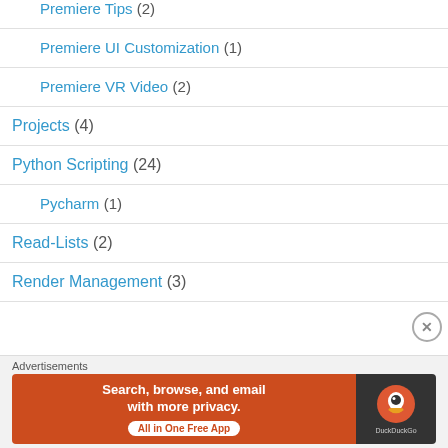Premiere Tips (2)
Premiere UI Customization (1)
Premiere VR Video (2)
Projects (4)
Python Scripting (24)
Pycharm (1)
Read-Lists (2)
Render Management (3)
[Figure (screenshot): DuckDuckGo advertisement banner: 'Search, browse, and email with more privacy. All in One Free App' with DuckDuckGo logo on dark background]
Advertisements